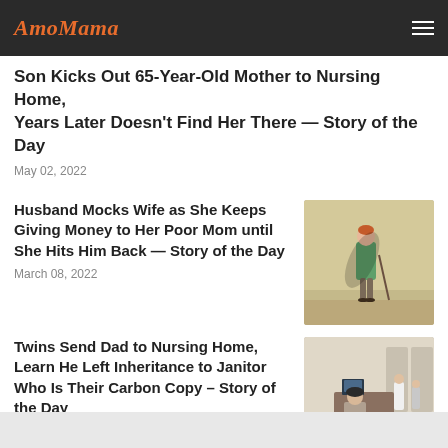AmoMama
Son Kicks Out 65-Year-Old Mother to Nursing Home, Years Later Doesn't Find Her There — Story of the Day
May 02, 2022
Husband Mocks Wife as She Keeps Giving Money to Her Poor Mom until She Hits Him Back — Story of the Day
March 08, 2022
[Figure (photo): Elderly woman in green jacket walking with a cane along a wall]
Twins Send Dad to Nursing Home, Learn He Left Inheritance to Janitor Who Is Their Carbon Copy – Story of the Day
[Figure (photo): Elderly person in wheelchair viewed from behind in a nursing home lobby]